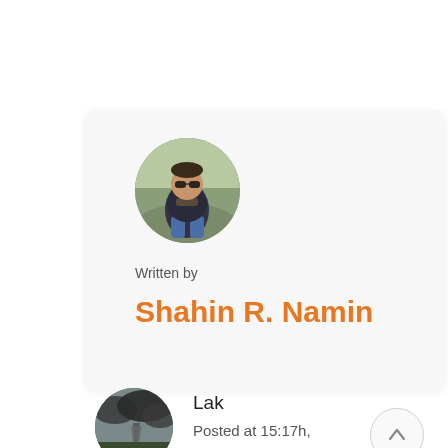[Figure (photo): Circular profile photo of a man wearing sunglasses and a dark jacket, sitting outdoors]
Written by
Shahin R. Namin
[Figure (other): Scroll-to-top button, circular with upward arrow]
[Figure (photo): Circular avatar showing a stormy sky/tornado landscape]
Lak
Posted at 15:17h,